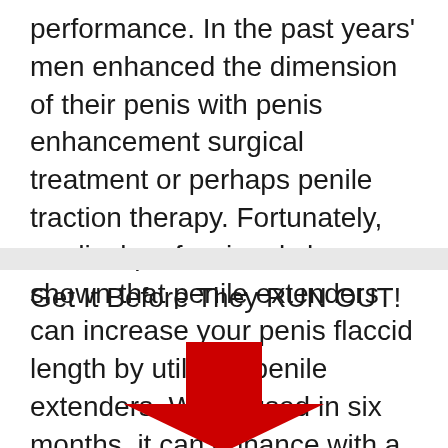performance. In the past years' men enhanced the dimension of their penis with penis enhancement surgical treatment or perhaps penile traction therapy. Fortunately, medical professionals have shown that penile extenders can increase your penis flaccid length by utilizing penile extenders. When used in six months, it can enhance with a single inch.
Get It Before They RUN OUT!
[Figure (illustration): A large red downward-pointing arrow graphic centered on the lower portion of the page.]